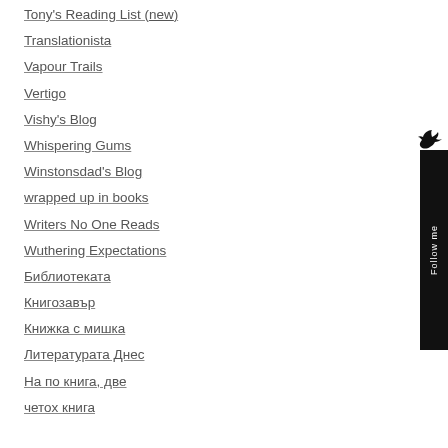Tony's Reading List (new)
Translationista
Vapour Trails
Vertigo
Vishy's Blog
Whispering Gums
Winstonsdad's Blog
wrapped up in books
Writers No One Reads
Wuthering Expectations
Библиотеката
Книгозавър
Книжка с мишка
Литературата Днес
На по книга, две
четох книга
[Figure (illustration): Follow me widget - black vertical banner with bird icon and 'Follow me' text rotated vertically on the right side of the page]